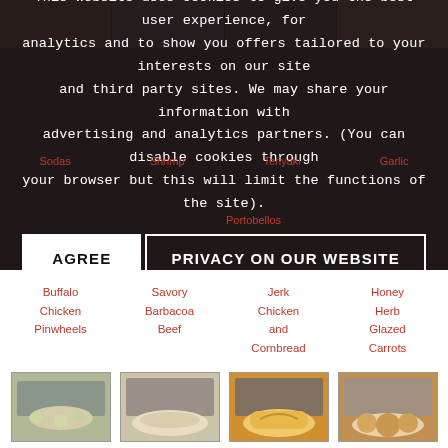This website uses cookies to give you the best user experience, for analytics and to show you offers tailored to your interests on our site and third party sites. We may share your information with advertising and analytics partners. (You can disable cookies through your browser but this will limit the functions of the site).
AGREE
PRIVACY ON OUR WEBSITE
Sodas
Shrimp
Teriyaki
Garlic
Portobellos
[Figure (photo): Buffalo Chicken Pinwheels food photo with pressure cooker]
Buffalo Chicken Pinwheels
[Figure (photo): Savory Barbacoa Beef food photo with pressure cooker]
Savory Barbacoa Beef
[Figure (photo): Jerk Chicken and Cornbread food photo with pressure cooker]
Jerk Chicken and Cornbread
[Figure (photo): Honey Herb Glazed Carrots food photo with pressure cooker]
Honey Herb Glazed Carrots
[Figure (photo): Dark Side Deviled Eggs food photo with pressure cooker]
Dark Side Deviled Eggs
[Figure (photo): Chicken Cordon Bleu food photo with pressure cooker]
Chicken Cordon Bleu
[Figure (photo): Creamy Scalloped Potatoes food photo with pressure cooker]
Creamy Scalloped Potatoes
[Figure (photo): Churro Bites food photo with pressure cooker]
Churro Bites